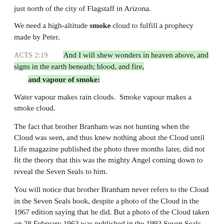just north of the city of Flagstaff in Arizona.
We need a high-altitude smoke cloud to fulfill a prophecy made by Peter.
ACTS 2:19    And I will shew wonders in heaven above, and signs in the earth beneath; blood, and fire, and vapour of smoke:
Water vapour makes rain clouds.  Smoke vapour makes a smoke cloud.
The fact that brother Branham was not hunting when the Cloud was seen, and thus knew nothing about the Cloud until Life magazine published the photo three months later, did not fit the theory that this was the mighty Angel coming down to reveal the Seven Seals to him.
You will notice that brother Branham never refers to the Cloud in the Seven Seals book, despite a photo of the Cloud in the 1967 edition saying that he did. But a photo of the Cloud taken on 28 February 1963 was published in the 1993 Seven Seals book with the claim that the seven angels formed the Cloud AFTER speaking to brother